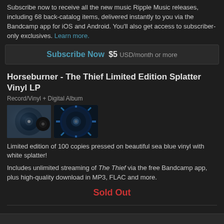Subscribe now to receive all the new music Ripple Music releases, including 68 back-catalog items, delivered instantly to you via the Bandcamp app for iOS and Android. You'll also get access to subscriber-only exclusives. Learn more.
Subscribe Now  $5 USD/month or more
Horseburner - The Thief Limited Edition Splatter Vinyl LP
Record/Vinyl + Digital Album
[Figure (photo): Two thumbnail images of vinyl record product: left shows album artwork with celestial/space design and record, right shows close-up of blue splatter vinyl record]
Limited edition of 100 copies pressed on beautiful sea blue vinyl with white splatter!
Includes unlimited streaming of The Thief via the free Bandcamp app, plus high-quality download in MP3, FLAC and more.
Sold Out